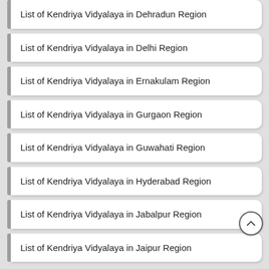List of Kendriya Vidyalaya in Dehradun Region
List of Kendriya Vidyalaya in Delhi Region
List of Kendriya Vidyalaya in Ernakulam Region
List of Kendriya Vidyalaya in Gurgaon Region
List of Kendriya Vidyalaya in Guwahati Region
List of Kendriya Vidyalaya in Hyderabad Region
List of Kendriya Vidyalaya in Jabalpur Region
List of Kendriya Vidyalaya in Jaipur Region